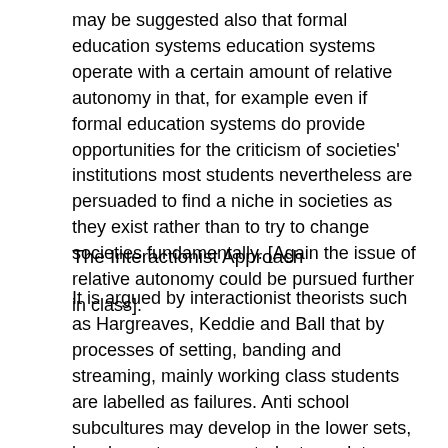may be suggested also that formal education systems education systems operate with a certain amount of relative autonomy in that, for example even if formal education systems do provide opportunities for the criticism of societies' institutions most students nevertheless are persuaded to find a niche in societies as they exist rather than to try to change societies fundamentally. [Again the issue of relative autonomy could be pursued further in class].
The Interactionist Approach
It is argued by interactionist theorists such as Hargreaves, Keddie and Ball that by processes of setting, banding and streaming, mainly working class students are labelled as failures. Anti school subcultures may develop in the lower sets, bands or streams  as students seek to regain informal status among their peers having been denied official academic status by the schools. The more experienced teachers may be allocated to higher streams and teachers in general may prepare more carefully for higher stream classes. Consequently self- fulfilling prophecies arise whereby the